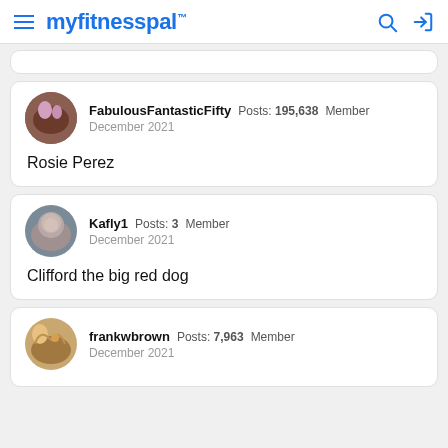myfitnesspal
FabulousFantasticFifty  Posts: 195,638  Member
December 2021

Rosie Perez
Kafly1  Posts: 3  Member
December 2021

Clifford the big red dog
frankwbrown  Posts: 7,963  Member
December 2021